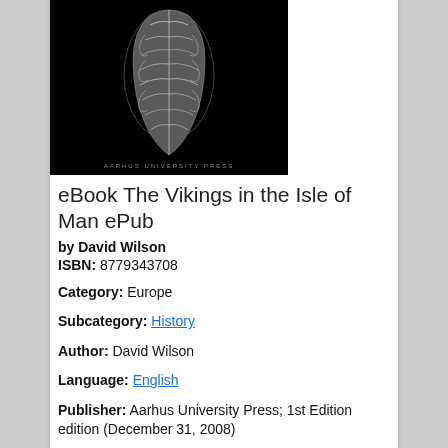[Figure (photo): Book cover of 'The Vikings in the Isle of Man' by Aarhus University Press, showing a dark background with an ornate silver/metal artifact carving]
eBook The Vikings in the Isle of Man ePub
by David Wilson
ISBN: 8779343708
Category: Europe
Subcategory: History
Author: David Wilson
Language: English
Publisher: Aarhus University Press; 1st Edition edition (December 31, 2008)
Pages: 156